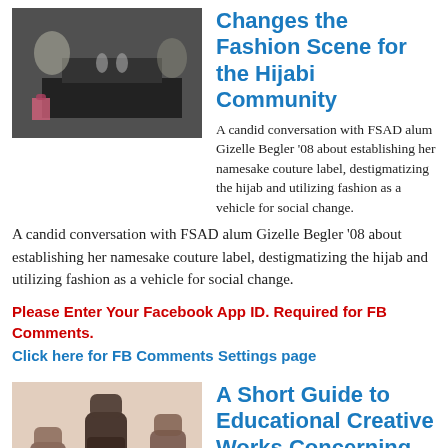[Figure (photo): Photo of people at a table in a dark venue, fashion/social event setting]
Changes the Fashion Scene for the Hijabi Community
A candid conversation with FSAD alum Gizelle Begler ‘08 about establishing her namesake couture label, destigmatizing the hijab and utilizing fashion as a vehicle for social change.
Please Enter Your Facebook App ID. Required for FB Comments. Click here for FB Comments Settings page
[Figure (photo): Black and white photo of raised fists symbolizing Black Lives Matter protest]
A Short Guide to Educational Creative Works Concerning Black Lives Matter and Anti-Racism
Compiled and written by Livia Caligor
As Toni Morrison shared with The Guardian in 1992, “In this country American means white. Everybody else has to hyphenate.” In a riveting dialogue on the implications of the African-